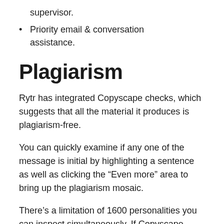supervisor.
Priority email & conversation assistance.
Plagiarism
Rytr has integrated Copyscape checks, which suggests that all the material it produces is plagiarism-free.
You can quickly examine if any one of the message is initial by highlighting a sentence as well as clicking the “Even more” area to bring up the plagiarism mosaic.
There’s a limitation of 1600 personalities you can inspect simultaneously. If Copyscape